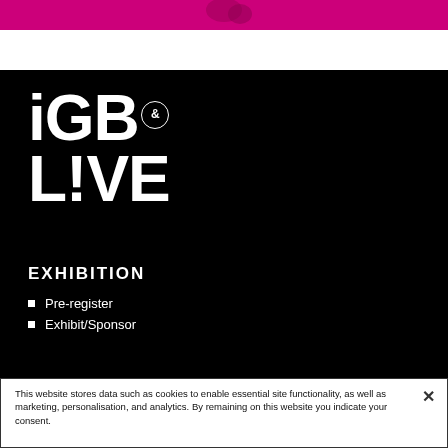[Figure (illustration): Pink/magenta banner strip at the top with partial figures visible]
[Figure (logo): iGB & LIVE logo in large white bold text on black background with circled ampersand superscript]
EXHIBITION
Pre-register
Exhibit/Sponsor
This website stores data such as cookies to enable essential site functionality, as well as marketing, personalisation, and analytics. By remaining on this website you indicate your consent.